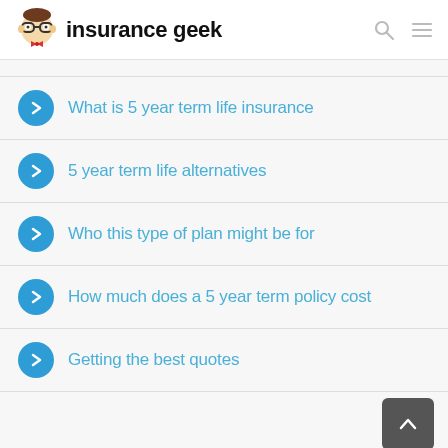insurance geek
What is 5 year term life insurance
5 year term life alternatives
Who this type of plan might be for
How much does a 5 year term policy cost
Getting the best quotes